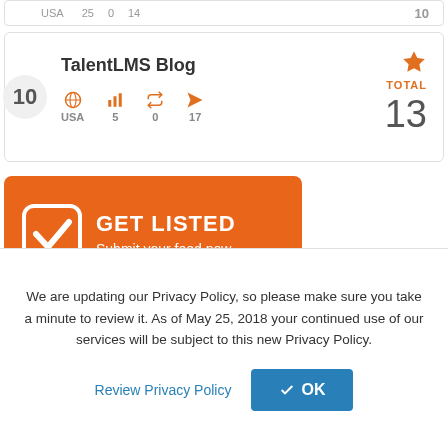USA 25 0 14 10
TalentLMS Blog
USA 5 0 17 TOTAL 13
[Figure (infographic): Orange GET LISTED banner with checkbox icon and text 'GET LISTED / Submit your feed now']
[Figure (logo): eLearning Industry logo with orange/blue icon and text]
We are updating our Privacy Policy, so please make sure you take a minute to review it. As of May 25, 2018 your continued use of our services will be subject to this new Privacy Policy.
Review Privacy Policy
✓ OK